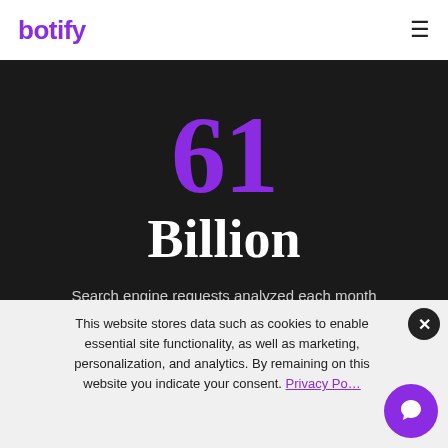botify
61
Billion
Search engine requests analyzed each month for crawl budget optimizations.
This website stores data such as cookies to enable essential site functionality, as well as marketing, personalization, and analytics. By remaining on this website you indicate your consent. Privacy Policy